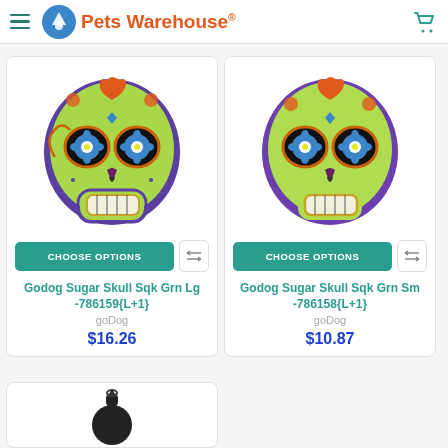Pets Warehouse
[Figure (photo): Godog Sugar Skull squeaky dog toy, green with purple border, large size]
CHOOSE OPTIONS
Godog Sugar Skull Sqk Grn Lg -786159{L+1}
goDog
$16.26
[Figure (photo): Godog Sugar Skull squeaky dog toy, green with purple glitter border, small size]
CHOOSE OPTIONS
Godog Sugar Skull Sqk Grn Sm -786158{L+1}
goDog
$10.87
[Figure (photo): Partial view of a black pet toy at the bottom of the page]